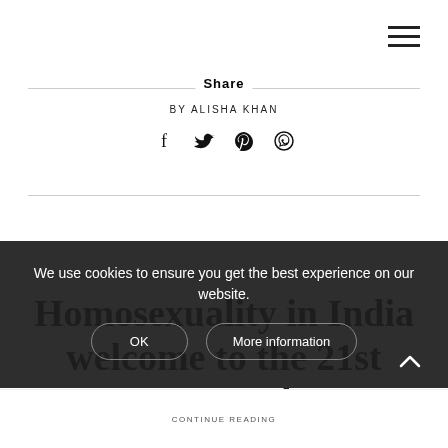Share
BY ALISHA KHAN
[Figure (illustration): Social share icons: Facebook, Twitter, Pinterest, WhatsApp]
[Figure (illustration): Hamburger menu icon in top right corner]
ASK WOMENNOW   FACTS   INSPIRE   LOVE   NEWS
Homosexuality in India welcome to the 21st century!
We use cookies to ensure you get the best experience on our website.
OK   More information
CONTINUE READING